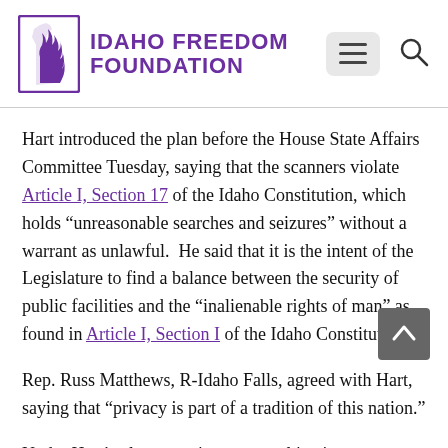IDAHO FREEDOM FOUNDATION
Hart introduced the plan before the House State Affairs Committee Tuesday, saying that the scanners violate Article I, Section 17 of the Idaho Constitution, which holds “unreasonable searches and seizures” without a warrant as unlawful.  He said that it is the intent of the Legislature to find a balance between the security of public facilities and the “inalienable rights of man” as found in Article I, Section I of the Idaho Constitution.
Rep. Russ Matthews, R-Idaho Falls, agreed with Hart, saying that “privacy is part of a tradition of this nation.”
Under Hart’s plan, security personnel in airports, or other public facilities would be prohibited from…